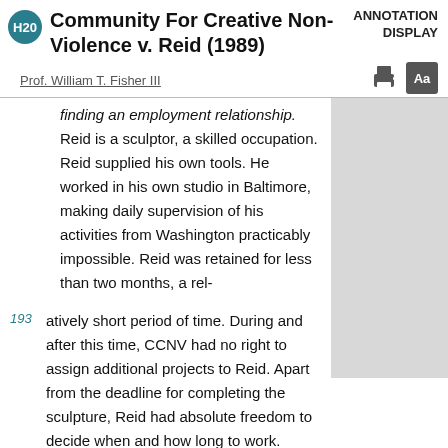Community For Creative Non-Violence v. Reid (1989)
ANNOTATION DISPLAY
Prof. William T. Fisher III
finding an employment relationship. Reid is a sculptor, a skilled occupation. Reid supplied his own tools. He worked in his own studio in Baltimore, making daily supervision of his activities from Washington practicably impossible. Reid was retained for less than two months, a rel-
atively short period of time. During and after this time, CCNV had no right to assign additional projects to Reid. Apart from the deadline for completing the sculpture, Reid had absolute freedom to decide when and how long to work. CCNV paid Reid